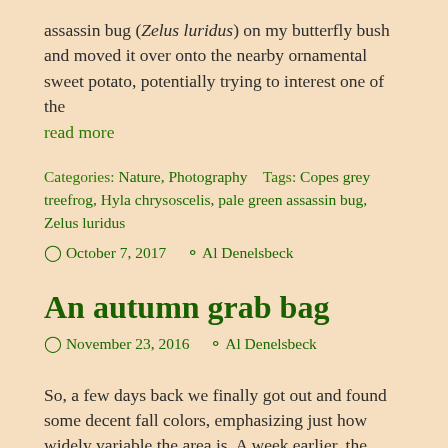assassin bug (Zelus luridus) on my butterfly bush and moved it over onto the nearby ornamental sweet potato, potentially trying to interest one of the
read more
Categories: Nature, Photography    Tags: Copes grey treefrog, Hyla chrysoscelis, pale green assassin bug, Zelus luridus
October 7, 2017   Al Denelsbeck
An autumn grab bag
November 23, 2016   Al Denelsbeck
So, a few days back we finally got out and found some decent fall colors, emphasizing just how widely variable the area is. A week earlier, the ineluctable Al Bugg and I had visited a spot on a river just a handful of kilometers